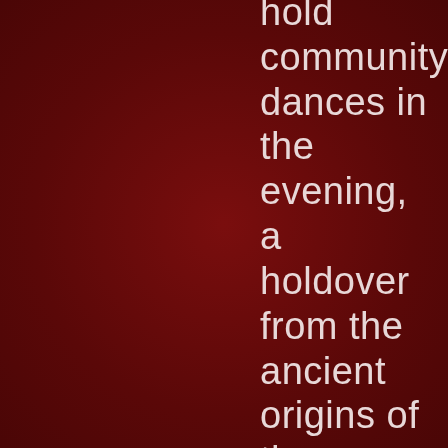hold community dances in the evening, a holdover from the ancient origins of the holiday. Thi...